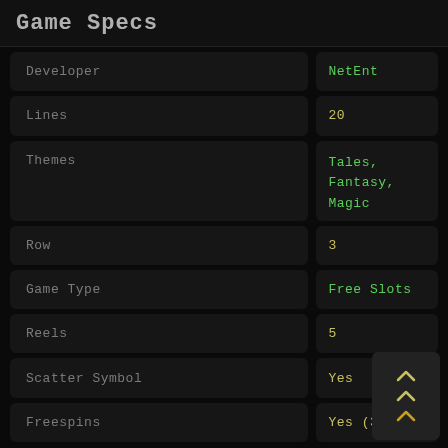Game Specs
| Field | Value |
| --- | --- |
| Developer | NetEnt |
| Lines | 20 |
| Themes | Tales, Fantasy, Magic |
| Row | 3 |
| Game Type | Free Slots |
| Reels | 5 |
| Scatter Symbol | Yes |
| Freespins | Yes (30) |